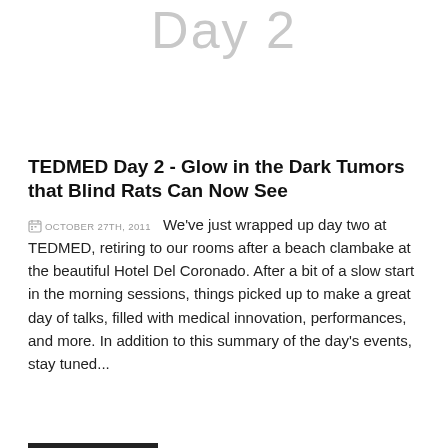Day 2
TEDMED Day 2 - Glow in the Dark Tumors that Blind Rats Can Now See
OCTOBER 27TH, 2011   We've just wrapped up day two at TEDMED, retiring to our rooms after a beach clambake at the beautiful Hotel Del Coronado. After a bit of a slow start in the morning sessions, things picked up to make a great day of talks, filled with medical innovation, performances, and more. In addition to this summary of the day's events, stay tuned...